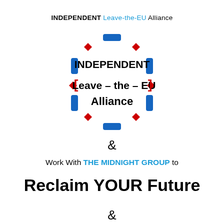INDEPENDENT Leave-the-EU Alliance
[Figure (logo): Circular dashed logo with alternating blue rectangles and red diamonds around the border. Inside text reads: INDEPENDENT Leave–the–EU Alliance in bold black, with red square bracket decorations on sides of 'Leave–the–EU'.]
&
Work With THE MIDNIGHT GROUP to
Reclaim YOUR Future
&